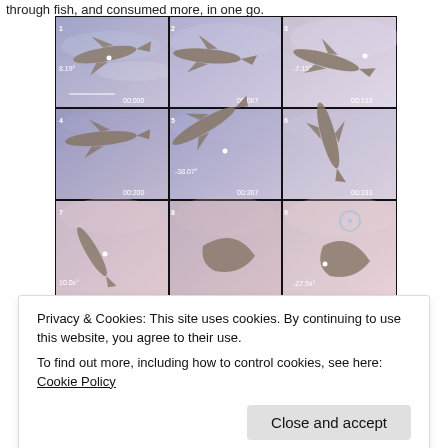through fish, and consumed more, in one go.
[Figure (photo): 3x3 grid of video frames showing a shark viewed from above underwater. Each frame is numbered 1-9 and shows a timestamp (00:000, 00:067, 00:133, 00:200, 00:267, 00:333, and partially visible frames 7-9). Some frames show angle measurements: 8.19°, -7.13°, -38.07°, and partially visible -27.5x° in frame 9. Frames show the shark at various orientations as it moves through water with a purple-blue hue.]
Privacy & Cookies: This site uses cookies. By continuing to use this website, you agree to their use.
To find out more, including how to control cookies, see here: Cookie Policy
Close and accept